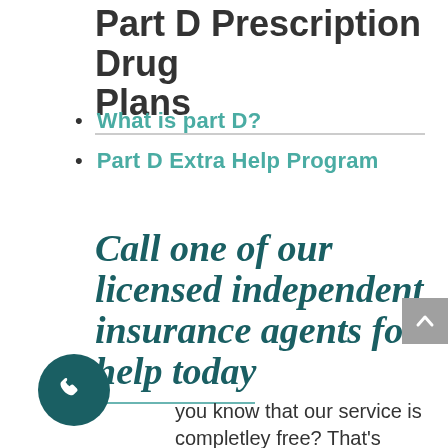Part D Prescription Drug Plans
What is part D?
Part D Extra Help Program
Call one of our licensed independent insurance agents for help today
you know that our service is completley free? That's right – you don't pay a penny for